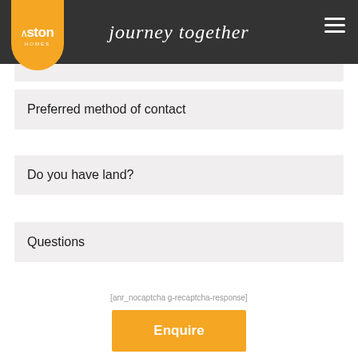[Figure (logo): Aston Homes logo on orange rounded pill/badge shape with white text]
journey together
Preferred method of contact
Do you have land?
Questions
[anr_nocaptcha g-recaptcha-response]
Enquire